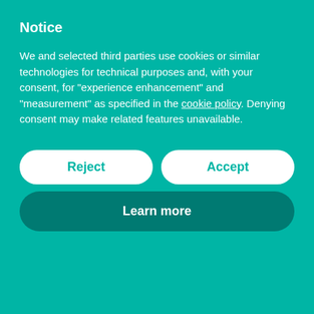Notice
We and selected third parties use cookies or similar technologies for technical purposes and, with your consent, for “experience enhancement” and “measurement” as specified in the cookie policy. Denying consent may make related features unavailable.
Reject
Accept
Learn more
youth and organisational leaders, in more than 140 countries, to support collaborative conservation.
The stated mission is on World Ocean Day, people everywhere can celebrate and take action for our shared ocean, which connects us all. Get together with your family, community, and/or your company, and join with millions of others around our blue planet to start creating